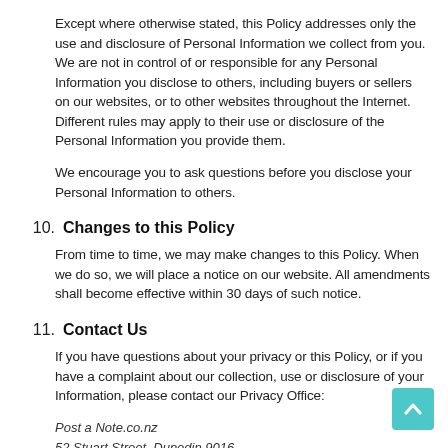Except where otherwise stated, this Policy addresses only the use and disclosure of Personal Information we collect from you. We are not in control of or responsible for any Personal Information you disclose to others, including buyers or sellers on our websites, or to other websites throughout the Internet. Different rules may apply to their use or disclosure of the Personal Information you provide them.
We encourage you to ask questions before you disclose your Personal Information to others.
10. Changes to this Policy
From time to time, we may make changes to this Policy. When we do so, we will place a notice on our website. All amendments shall become effective within 30 days of such notice.
11. Contact Us
If you have questions about your privacy or this Policy, or if you have a complaint about our collection, use or disclosure of your Information, please contact our Privacy Office:
Post a Note.co.nz
52 Stuart Street, Dunedin 9016
P.O. Box 51, Dunedin 9054